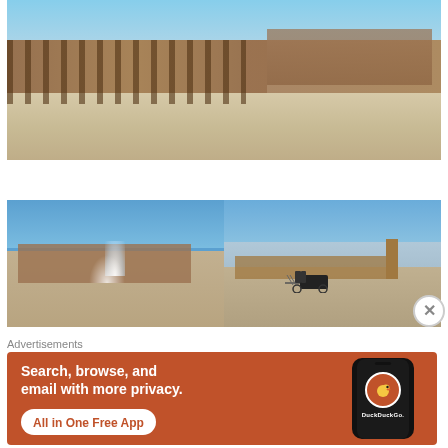[Figure (photo): Large panoramic photo of Plaza de España in Seville, Spain. Shows the ornate semicircular brick building with arched colonnade and the wide paved plaza in the foreground.]
[Figure (photo): Two side-by-side photos of Plaza de España Seville. Left: fountain with water jets in front of the building under blue sky. Right: horse-drawn carriage passing in front of the tower and building under blue sky.]
Advertisements
[Figure (infographic): DuckDuckGo advertisement banner with orange background. Text: 'Search, browse, and email with more privacy. All in One Free App' with a phone mockup showing the DuckDuckGo logo and brand name.]